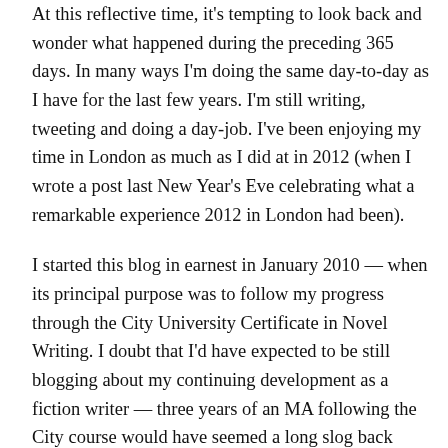At this reflective time, it's tempting to look back and wonder what happened during the preceding 365 days. In many ways I'm doing the same day-to-day as I have for the last few years. I'm still writing, tweeting and doing a day-job. I've been enjoying my time in London as much as I did at in 2012 (when I wrote a post last New Year's Eve celebrating what a remarkable experience 2012 in London had been).
I started this blog in earnest in January 2010 — when its principal purpose was to follow my progress through the City University Certificate in Novel Writing. I doubt that I'd have expected to be still blogging about my continuing development as a fiction writer — three years of an MA following the City course would have seemed a long slog back then.
So, in some ways it seems that little is different but these are probably the most superficial. In a deeper sense this